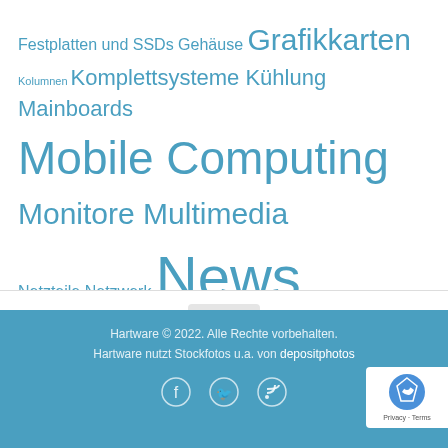[Figure (other): Tag cloud of German technology category links in various font sizes, all in steel blue color on white background. Categories include: Festplatten und SSDs, Gehäuse, Grafikkarten, Kolumnen, Komplettsysteme, Kühlung, Mainboards, Mobile Computing, Monitore, Multimedia, Netzteile, Netzwerk, News, Notebooks, Pressemitteilungen, Prozessoren, Reviews, Smartphones, Software & Treiber, Sonstiges, Spielkonsolen, Tablets, Wirtschaft]
[Figure (other): White navigation bar with hamburger menu icon (three horizontal lines) on the right side]
[Figure (other): Back-to-top button with upward chevron arrow on light gray background]
Hartware © 2022. Alle Rechte vorbehalten. Hartware nutzt Stockfotos u.a. von depositphotos. Social media icons for Facebook, Twitter, RSS.